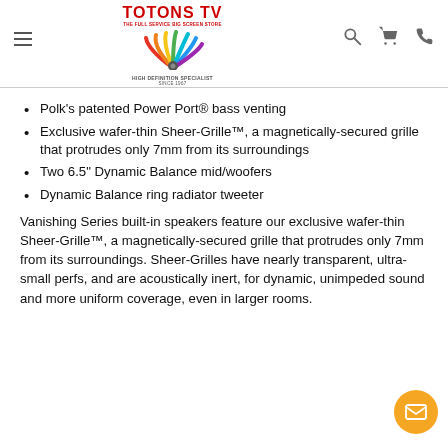TOTONS TV — HIGH DEFINITION SPECIALIST SINCE 1967
Polk's patented Power Port® bass venting
Exclusive wafer-thin Sheer-Grille™, a magnetically-secured grille that protrudes only 7mm from its surroundings
Two 6.5" Dynamic Balance mid/woofers
Dynamic Balance ring radiator tweeter
Vanishing Series built-in speakers feature our exclusive wafer-thin Sheer-Grille™, a magnetically-secured grille that protrudes only 7mm from its surroundings. Sheer-Grilles have nearly transparent, ultra-small perfs, and are acoustically inert, for dynamic, unimpeded sound and more uniform coverage, even in larger rooms.